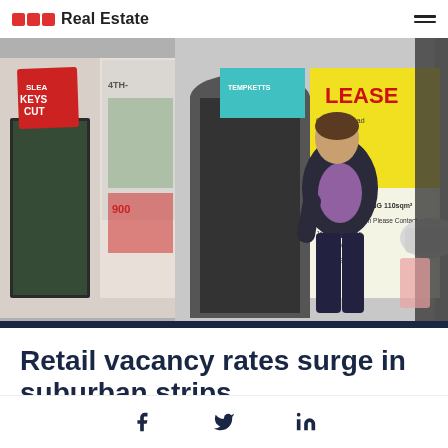Real Estate
[Figure (photo): Street scene showing suburban retail strip with empty shop fronts. A man in a dark blazer and purple shirt walks past storefronts. Signs visible include 'KEYS CUT', a yellow 'LEASE' sign, and 'SHOP & DWELLING' for lease contact details. A white car is visible in the background.]
Retail vacancy rates surge in suburban strips
f  in